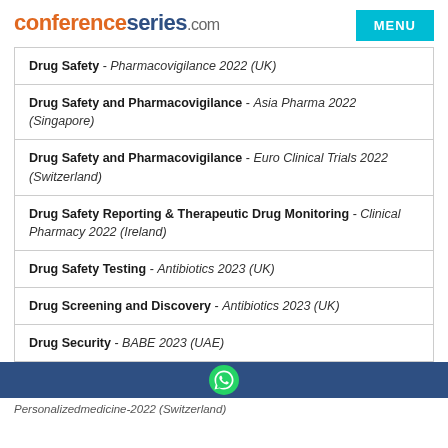conferenceseries.com
Drug Safety - Pharmacovigilance 2022 (UK)
Drug Safety and Pharmacovigilance - Asia Pharma 2022 (Singapore)
Drug Safety and Pharmacovigilance - Euro Clinical Trials 2022 (Switzerland)
Drug Safety Reporting & Therapeutic Drug Monitoring - Clinical Pharmacy 2022 (Ireland)
Drug Safety Testing - Antibiotics 2023 (UK)
Drug Screening and Discovery - Antibiotics 2023 (UK)
Drug Security - BABE 2023 (UAE)
Personalizedmedicine-2022 (Switzerland)